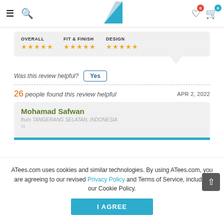ATees.com navigation bar with hamburger menu, search, logo, wishlist (0), cart (0)
| OVERALL | FIT & FINISH | DESIGN |
| --- | --- | --- |
| ★★★★★ | ★★★★★ | ★★★★★ |
Was this review helpful? Yes
26 people found this review helpful    APR 2, 2022
Mohamad Safwan
from TANGERANG SELATAN, INDONESIA
ATees.com uses cookies and similar technologies. By using ATees.com, you are agreeing to our revised Privacy Policy and Terms of Service, including our Cookie Policy.
I AGREE